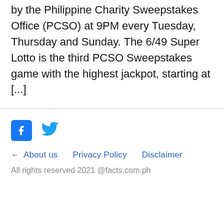by the Philippine Charity Sweepstakes Office (PCSO) at 9PM every Tuesday, Thursday and Sunday. The 6/49 Super Lotto is the third PCSO Sweepstakes game with the highest jackpot, starting at [...]
[Figure (other): Social media icons: Facebook (blue square with 'f') and Twitter (blue bird icon)]
← About us   Privacy Policy   Disclaimer
All rights reserved 2021 @facts.com.ph